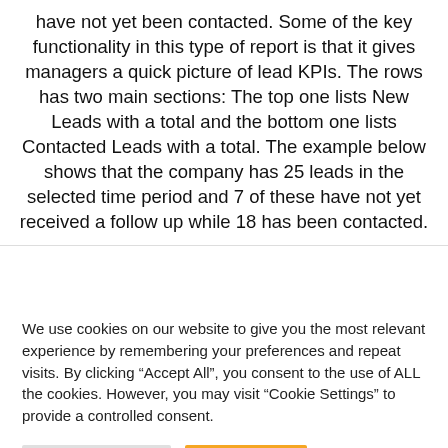have not yet been contacted. Some of the key functionality in this type of report is that it gives managers a quick picture of lead KPIs. The rows has two main sections: The top one lists New Leads with a total and the bottom one lists Contacted Leads with a total. The example below shows that the company has 25 leads in the selected time period and 7 of these have not yet received a follow up while 18 has been contacted.
We use cookies on our website to give you the most relevant experience by remembering your preferences and repeat visits. By clicking “Accept All”, you consent to the use of ALL the cookies. However, you may visit “Cookie Settings” to provide a controlled consent.